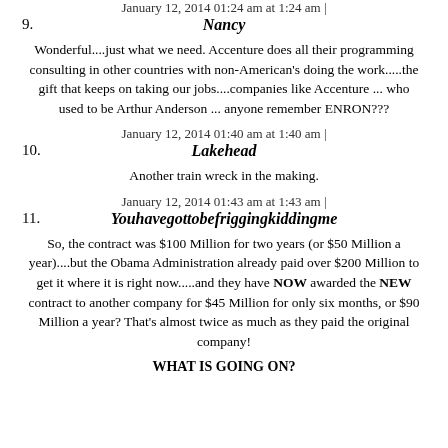January 12, 2014 01:24 am at 1:24 am |
9.
Nancy
Wonderful....just what we need. Accenture does all their programming consulting in other countries with non-American's doing the work.....the gift that keeps on taking our jobs....companies like Accenture ... who used to be Arthur Anderson ... anyone remember ENRON???
January 12, 2014 01:40 am at 1:40 am |
10.
Lakehead
Another train wreck in the making.
January 12, 2014 01:43 am at 1:43 am |
11.
Youhavegottobefriggingkiddingme
So, the contract was $100 Million for two years (or $50 Million a year)....but the Obama Administration already paid over $200 Million to get it where it is right now.....and they have NOW awarded the NEW contract to another company for $45 Million for only six months, or $90 Million a year? That's almost twice as much as they paid the original company!
WHAT IS GOING ON?